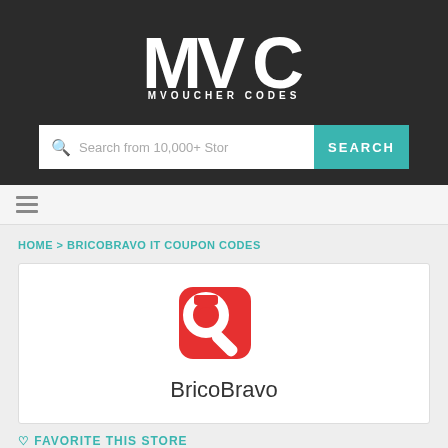[Figure (logo): MVC MVOUCHER CODES logo — white letters on dark background]
Search from 10,000+ Stor
SEARCH
HOME > BRICOBRAVO IT COUPON CODES
[Figure (logo): BricoBravo logo — red wrench icon inside red rounded square, with BricoBravo text below]
♡ FAVORITE THIS STORE